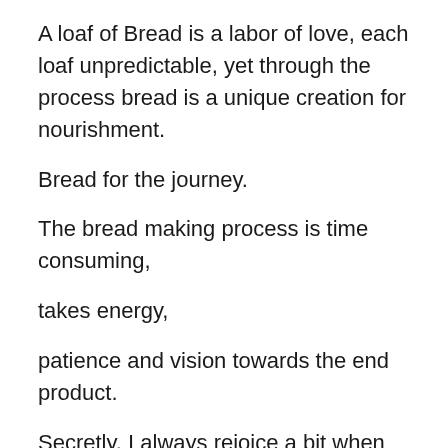A loaf of Bread is a labor of love, each loaf unpredictable, yet through the process bread is a unique creation for nourishment.
Bread for the journey.
The bread making process is time consuming,
takes energy,
patience and vision towards the end product.
Secretly, I always rejoice a bit when that first rise happens- proving that I did not accidentally kill the yeast with water that was too hot.... I wait impatiently, I wait expectantly.
When we hear the word “bread” in the church we cannot